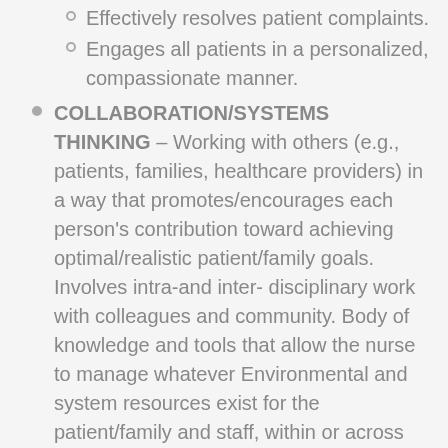Effectively resolves patient complaints.
Engages all patients in a personalized, compassionate manner.
COLLABORATION/SYSTEMS THINKING – Working with others (e.g., patients, families, healthcare providers) in a way that promotes/encourages each person's contribution toward achieving optimal/realistic patient/family goals. Involves intra-and inter- disciplinary work with colleagues and community. Body of knowledge and tools that allow the nurse to manage whatever Environmental and system resources exist for the patient/family and staff, within or across